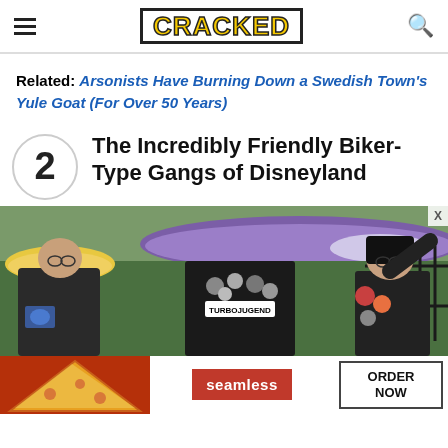CRACKED
Related: Arsonists Have Burning Down a Swedish Town's Yule Goat (For Over 50 Years)
2 The Incredibly Friendly Biker-Type Gangs of Disneyland
[Figure (photo): Two people in black jackets covered in patches (one reading TURBOJUGEND) looking through a iron fence at Disneyland flower gardens; a woman with black hair on the right side of the fence.]
[Figure (photo): Seamless food delivery ad banner with pizza image on left, red Seamless logo in center, and ORDER NOW button on right.]